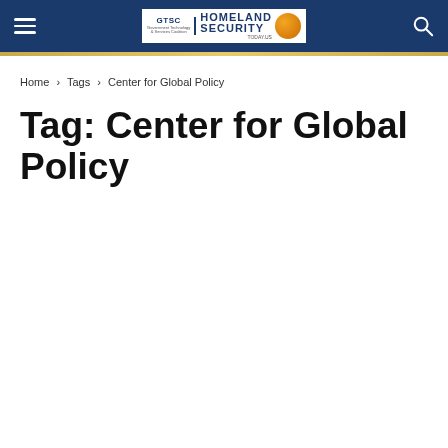GTSC Homeland Security Today — site header with navigation
Home › Tags › Center for Global Policy
Tag: Center for Global Policy